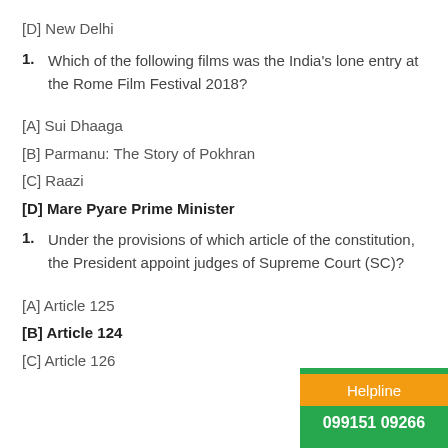[D] New Delhi
1. Which of the following films was the India's lone entry at the Rome Film Festival 2018?
[A] Sui Dhaaga
[B] Parmanu: The Story of Pokhran
[C] Raazi
[D] Mare Pyare Prime Minister
1. Under the provisions of which article of the constitution, the President appoint judges of Supreme Court (SC)?
[A] Article 125
[B] Article 124
[C] Article 126
Helpline 099151 09266